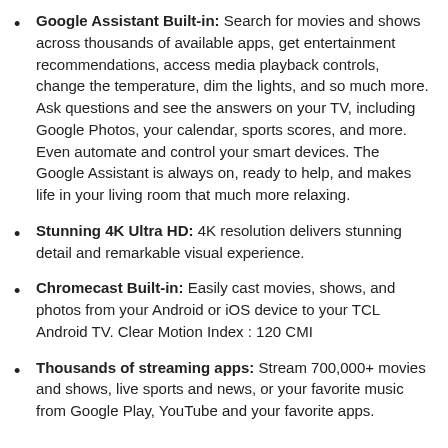Google Assistant Built-in: Search for movies and shows across thousands of available apps, get entertainment recommendations, access media playback controls, change the temperature, dim the lights, and so much more. Ask questions and see the answers on your TV, including Google Photos, your calendar, sports scores, and more. Even automate and control your smart devices. The Google Assistant is always on, ready to help, and makes life in your living room that much more relaxing.
Stunning 4K Ultra HD: 4K resolution delivers stunning detail and remarkable visual experience.
Chromecast Built-in: Easily cast movies, shows, and photos from your Android or iOS device to your TCL Android TV. Clear Motion Index : 120 CMI
Thousands of streaming apps: Stream 700,000+ movies and shows, live sports and news, or your favorite music from Google Play, YouTube and your favorite apps.